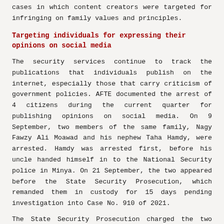cases in which content creators were targeted for infringing on family values and principles.
Targeting individuals for expressing their opinions on social media
The security services continue to track the publications that individuals publish on the internet, especially those that carry criticism of government policies. AFTE documented the arrest of 4 citizens during the current quarter for publishing opinions on social media. On 9 September, two members of the same family, Nagy Fawzy Ali Moawad and his nephew Taha Hamdy, were arrested. Hamdy was arrested first, before his uncle handed himself in to the National Security police in Minya. On 21 September, the two appeared before the State Security Prosecution, which remanded them in custody for 15 days pending investigation into Case No. 910 of 2021.
The State Security Prosecution charged the two with joining a